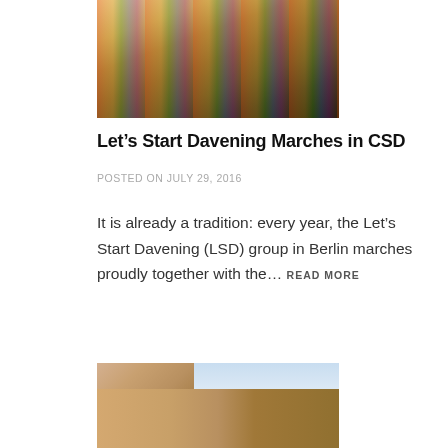[Figure (photo): People holding rainbow flags with Jewish star symbols at a CSD (Christopher Street Day / Pride) parade]
Let’s Start Davening Marches in CSD
POSTED ON JULY 29, 2016
It is already a tradition: every year, the Let’s Start Davening (LSD) group in Berlin marches proudly together with the… READ MORE
[Figure (photo): Selfie of two people outdoors in an urban setting with blue sky and buildings in background]